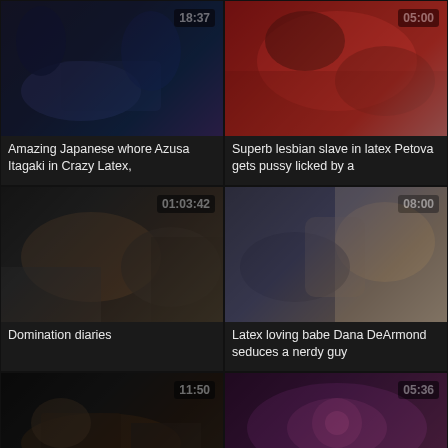[Figure (screenshot): Video thumbnail showing dark scene, duration 18:37]
Amazing Japanese whore Azusa Itagaki in Crazy Latex,
[Figure (screenshot): Video thumbnail showing close-up latex scene, duration 05:00]
Superb lesbian slave in latex Petova gets pussy licked by a
[Figure (screenshot): Video thumbnail showing latex domination scene, duration 01:03:42]
Domination diaries
[Figure (screenshot): Video thumbnail showing bedroom scene, duration 08:00]
Latex loving babe Dana DeArmond seduces a nerdy guy
[Figure (screenshot): Video thumbnail showing latex fetish scene, duration 11:50]
[Figure (screenshot): Video thumbnail showing close-up scene, duration 05:36]